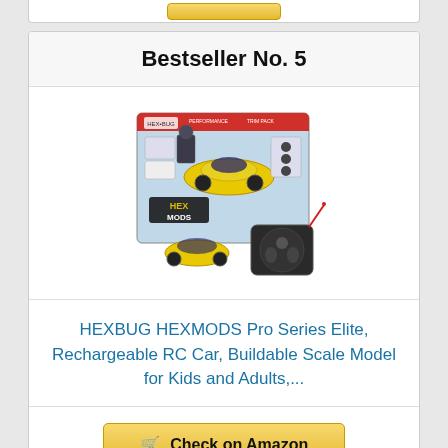Bestseller No. 5
[Figure (photo): HEXBUG HEXMODS Pro Series Elite RC Car product package showing a yellow RC car, remote controller, and accessories in retail box packaging.]
HEXBUG HEXMODS Pro Series Elite, Rechargeable RC Car, Buildable Scale Model for Kids and Adults,...
Check on Amazon